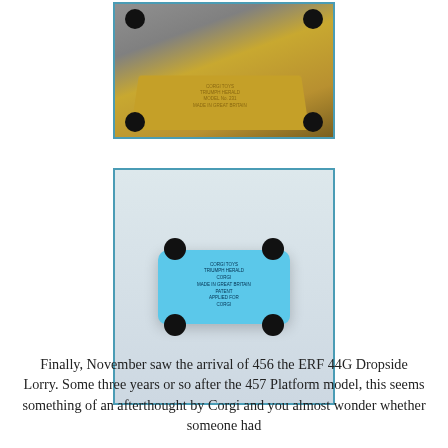[Figure (photo): Close-up photo of the underside of a gold/yellow Corgi die-cast toy lorry, showing the base plate with text, viewed at angle on a grey surface]
[Figure (photo): Photo of the underside of a light blue Corgi die-cast toy car (Triumph Herald model) on a white surface, showing the base plate with 'CORGI TOYS' and model details embossed]
Finally, November saw the arrival of 456 the ERF 44G Dropside Lorry. Some three years or so after the 457 Platform model, this seems something of an afterthought by Corgi and you almost wonder whether someone had